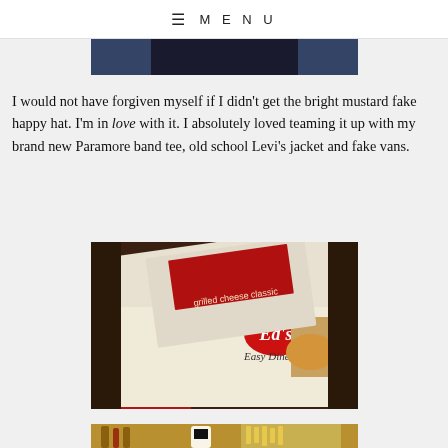≡ MENU
[Figure (photo): Partial photo visible at top, dark clothing/jeans visible, cropped]
I would not have forgiven myself if I didn't get the bright mustard fake happy hat. I'm in love with it. I absolutely loved teaming it up with my brand new Paramore band tee, old school Levi's jacket and fake vans.
[Figure (photo): Close-up photo of Ed's Easy Diner menu on a table with red accents and food visible]
[Figure (photo): Partial photo of diner table with condiments and french fries visible, cropped at bottom]